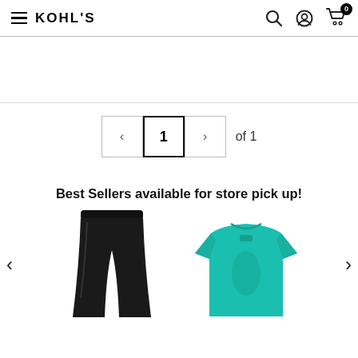KOHL'S
< 1 > of 1
Best Sellers available for store pick up!
[Figure (photo): Black women's pants product photo]
[Figure (photo): Teal graphic t-shirt product photo]